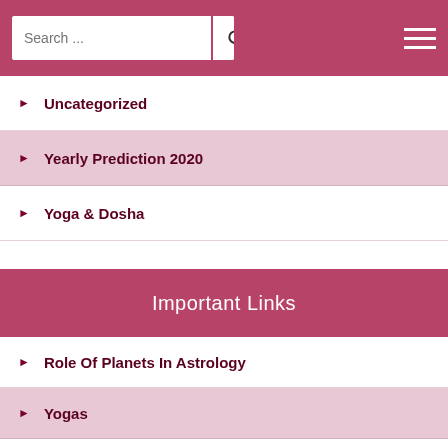Search ...
Uncategorized
Yearly Prediction 2020
Yoga & Dosha
Important Links
Role Of Planets In Astrology
Yogas
Gems
Rudraksha
Ascendants
Result of Planets